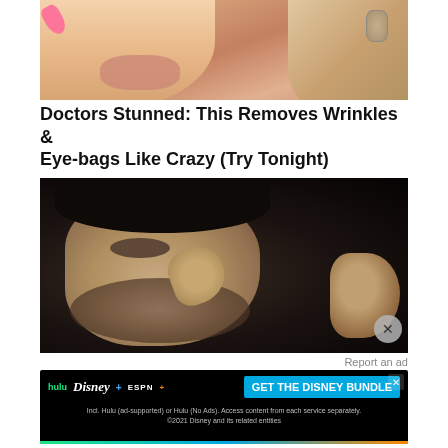[Figure (photo): Close-up photo of a woman's face - blonde hair, pink nails, wearing an earring, showing lower half of face with lips parted]
Doctors Stunned: This Removes Wrinkles & Eye-bags Like Crazy (Try Tonight)
Trending New Finds
[Figure (photo): Close-up photo of a dark-haired man on a dark background, pointing to a mole/mark on his face near the eye area, with hand touching cheek]
Report an ad
[Figure (other): Disney Bundle advertisement banner showing Hulu, Disney+, and ESPN+ logos with 'GET THE DISNEY BUNDLE' call to action button. Small print: Incl. Hulu (ad-supported) or Hulu (No Ads). Access content from each service separately. ©2021 Disney and its related entities]